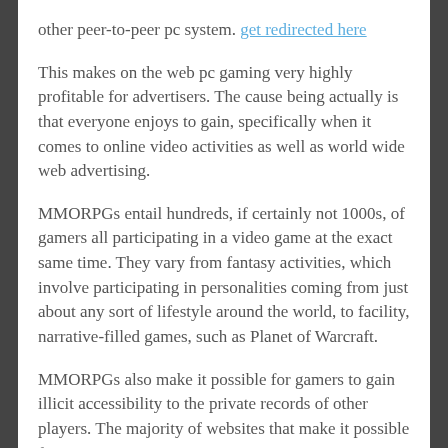other peer-to-peer pc system. get redirected here
This makes on the web pc gaming very highly profitable for advertisers. The cause being actually is that everyone enjoys to gain, specifically when it comes to online video activities as well as world wide web advertising.
MMORPGs entail hundreds, if certainly not 1000s, of gamers all participating in a video game at the exact same time. They vary from fantasy activities, which involve participating in personalities coming from just about any sort of lifestyle around the world, to facility, narrative-filled games, such as Planet of Warcraft.
MMORPGs also make it possible for gamers to gain illicit accessibility to the private records of other players. The majority of websites that make it possible for internet